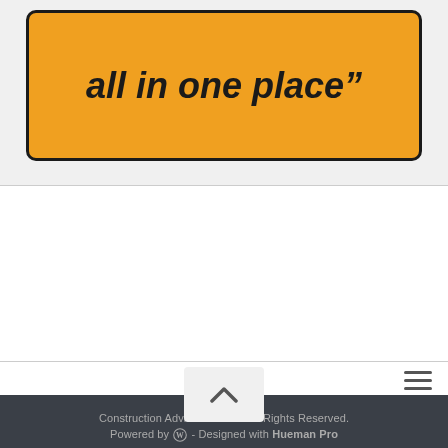[Figure (illustration): Orange rounded rectangle with bold italic text 'all in one place"' on a light gray background, resembling a sign or banner]
≡ (hamburger menu icon)
[Figure (illustration): Scroll-to-top button with upward chevron arrow on light gray background]
Construction Advisor © 2022. All Rights Reserved. Powered by [WordPress logo] - Designed with Hueman Pro